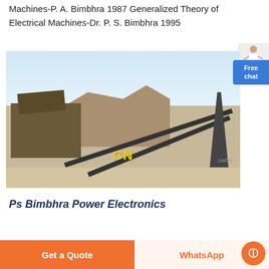Machines-P. A. Bimbhra 1987 Generalized Theory of Electrical Machines-Dr. P. S. Bimbhra 1995
[Figure (photo): Industrial stone crusher / quarry machinery with conveyor belts at a mining site. Rocky terrain and cliff in the background. CN watermark visible in yellow text. 'rusher' text visible at lower right.]
Ps Bimbhra Power Electronics
Get a Quote
WhatsApp